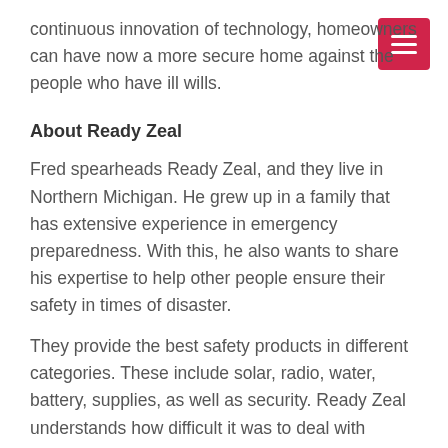continuous innovation of technology, homeowners can have now a more secure home against the people who have ill wills.
About Ready Zeal
Fred spearheads Ready Zeal, and they live in Northern Michigan. He grew up in a family that has extensive experience in emergency preparedness. With this, he also wants to share his expertise to help other people ensure their safety in times of disaster.
They provide the best safety products in different categories. These include solar, radio, water, battery, supplies, as well as security. Ready Zeal understands how difficult it was to deal with emergencies, so they are willing to provide the best tips to reduce the risk of injuries and fatalities for everyone.
###